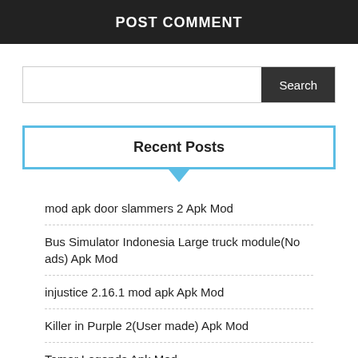POST COMMENT
Recent Posts
mod apk door slammers 2 Apk Mod
Bus Simulator Indonesia Large truck module(No ads) Apk Mod
injustice 2.16.1 mod apk Apk Mod
Killer in Purple 2(User made) Apk Mod
Tamer Legends Apk Mod